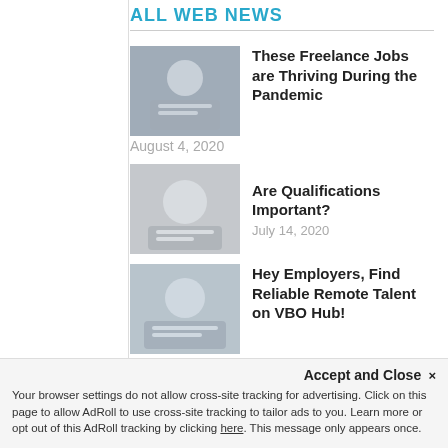ALL WEB NEWS
These Freelance Jobs are Thriving During the Pandemic
August 4, 2020
Are Qualifications Important?
July 14, 2020
Hey Employers, Find Reliable Remote Talent on VBO Hub!
July 6, 2020
Five Awesome Freelance Jobs for Recent Graduates
June 29, 2020
Accept and Close ×
Your browser settings do not allow cross-site tracking for advertising. Click on this page to allow AdRoll to use cross-site tracking to tailor ads to you. Learn more or opt out of this AdRoll tracking by clicking here. This message only appears once.